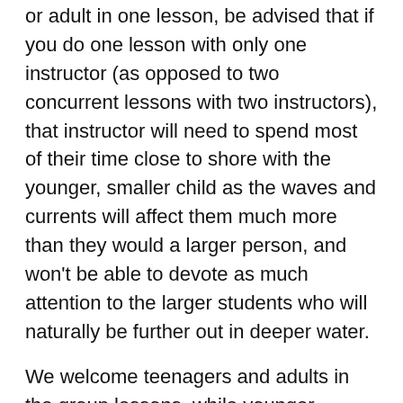or adult in one lesson, be advised that if you do one lesson with only one instructor (as opposed to two concurrent lessons with two instructors), that instructor will need to spend most of their time close to shore with the younger, smaller child as the waves and currents will affect them much more than they would a larger person, and won't be able to devote as much attention to the larger students who will naturally be further out in deeper water.
We welcome teenagers and adults in the group lessons, while younger children and pre-teens are better suited for private lessons.
HOW DO LESSONS WORK?
Surf lessons are an hour long, and include all the equipment – foam longboard, bring a wetsuit if you get cold. We spend the first 20 minutes on the beach going